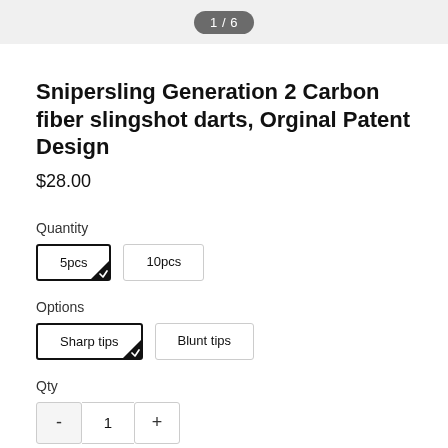1 / 6
Snipersling Generation 2 Carbon fiber slingshot darts, Orginal Patent Design
$28.00
Quantity
5pcs (selected)
10pcs
Options
Sharp tips (selected)
Blunt tips
Qty
- 1 +